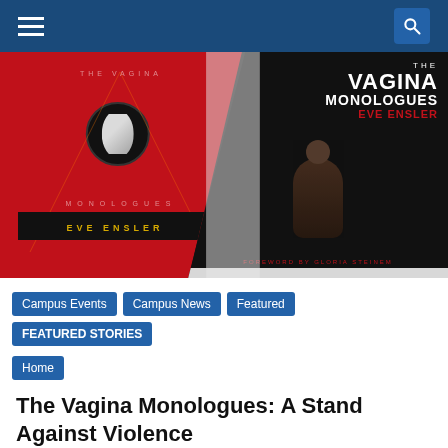Navigation bar with hamburger menu and search icon
[Figure (photo): Two copies of The Vagina Monologues by Eve Ensler — one with a red cover (showing triangular design and circle motif) and one with a black cover (showing a woman performing, with 'Foreword by Gloria Steinem'), arranged open face-to-face on a dark surface.]
Campus Events
Campus News
Featured
FEATURED STORIES
Home
The Vagina Monologues: A Stand Against Violence
A recap of Monmouth University's event: The Vagina